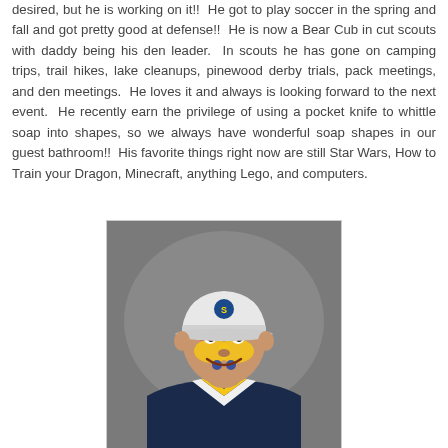desired, but he is working on it!!  He got to play soccer in the spring and fall and got pretty good at defense!!  He is now a Bear Cub in cut scouts with daddy being his den leader.  In scouts he has gone on camping trips, trail hikes, lake cleanups, pinewood derby trials, pack meetings, and den meetings.  He loves it and always is looking forward to the next event.  He recently earn the privilege of using a pocket knife to whittle soap into shapes, so we always have wonderful soap shapes in our guest bathroom!!  His favorite things right now are still Star Wars, How to Train your Dragon, Minecraft, anything Lego, and computers.
[Figure (photo): A young boy wearing a Cub Scout uniform with face paint (red, yellow, blue) and a cap with a Scout logo, smiling at the camera against a gray background.]